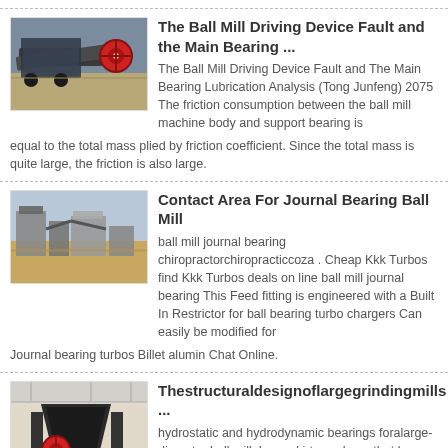[Figure (photo): Industrial ball mill machine in a factory setting, gray metallic equipment with red wheel]
The Ball Mill Driving Device Fault and the Main Bearing ...
The Ball Mill Driving Device Fault and The Main Bearing Lubrication Analysis (Tong Junfeng) 2075 The friction consumption between the ball mill machine body and support bearing is equal to the total mass plied by friction coefficient. Since the total mass is quite large, the friction is also large.
[Figure (photo): Outdoor mining or quarrying equipment, large industrial processing machines in arid landscape]
Contact Area For Journal Bearing Ball Mill
ball mill journal bearing chiropractorchiropracticcoza . Cheap Kkk Turbos find Kkk Turbos deals on line ball mill journal bearing This Feed fitting is engineered with a Built In Restrictor for ball bearing turbo chargers Can easily be modified for Journal bearing turbos Billet alumin Chat Online.
[Figure (photo): Large industrial crusher or grinding mill machine indoors, dark machinery with red wheel component]
Thestructuraldesignoflargegrindingmills ...
hydrostatic and hydrodynamic bearings foralarge-diameter ball mill. Long ski-type shoes that have hydrodynamic action havefriction characteristics between the two extremes. This isbecause the shoe efficiencyislessthanthat ofahydrodynamic bearing andahigherleakagerate.ReferencetoFig.7showsthe limit ofsuch shoeswhen applied to shellsoflarge ...